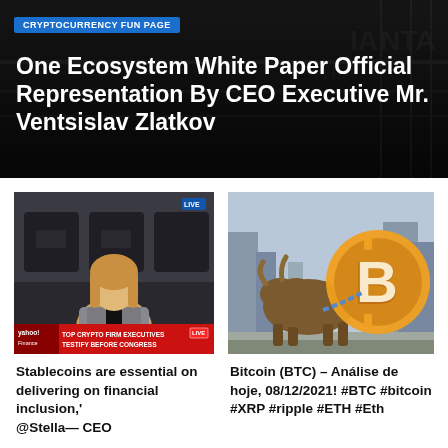CRYPTOCURRENCY FUN PAGE
One Ecosystem White Paper Official Representation By CEO Executive Mr. Ventsislav Zlatkov
[Figure (screenshot): News broadcast screenshot showing a woman at a congressional hearing with Yahoo Finance ticker reading: TOP CRYPTO FIRM EXECUTIVES TESTIFY BEFORE CONGRESS]
Stablecoins are essential on delivering on financial inclusion,' @Stella— CEO
[Figure (illustration): Illustration of a bronze bull (Wall Street bull) next to a large gold Bitcoin symbol on a city street background]
Bitcoin (BTC) – Análise de hoje, 08/12/2021! #BTC #bitcoin #XRP #ripple #ETH #Eth